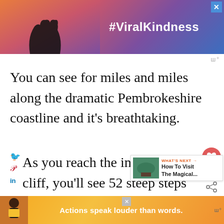[Figure (photo): Advertisement banner with #ViralKindness hashtag, showing silhouette of hands forming a heart shape against a colorful sunset sky background. Has an X close button in the top right.]
You can see for miles and miles along the dramatic Pembrokeshire coastline and it's breathtaking.
As you reach the inlet in the cliff, you'll see 52 steep steps that lead you down towards the medieval chapel nestled in the cliff!
Always check the weather and tide before you
[Figure (screenshot): Bottom advertisement banner: person in yellow/orange background with text 'Actions speak louder than words.' Has an X close button and a wc logo on the right.]